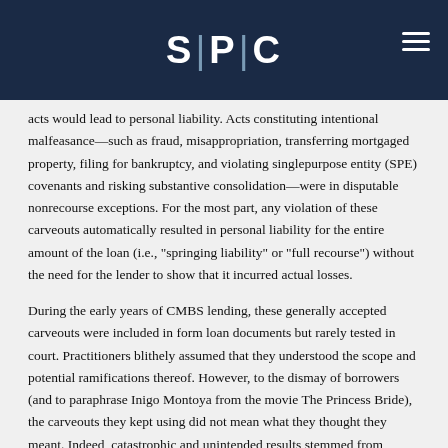SPC
acts would lead to personal liability. Acts constituting intentional malfeasance—such as fraud, misappropriation, transferring mortgaged property, filing for bankruptcy, and violating singlepurpose entity (SPE) covenants and risking substantive consolidation—were in disputable nonrecourse exceptions. For the most part, any violation of these carveouts automatically resulted in personal liability for the entire amount of the loan (i.e., "springing liability" or "full recourse") without the need for the lender to show that it incurred actual losses.
During the early years of CMBS lending, these generally accepted carveouts were included in form loan documents but rarely tested in court. Practitioners blithely assumed that they understood the scope and potential ramifications thereof. However, to the dismay of borrowers (and to paraphrase Inigo Montoya from the movie The Princess Bride), the carveouts they kept using did not mean what they thought they meant. Indeed, catastrophic and unintended results stemmed from breaches of two such carveouts related to SPE covenants and transfers